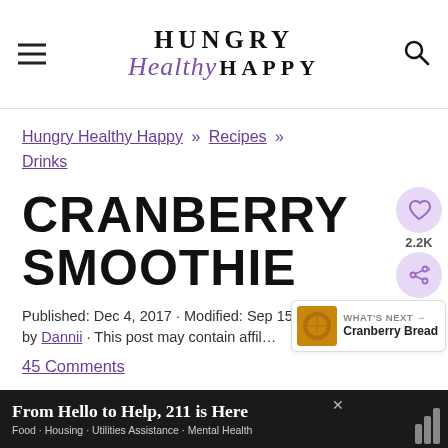Hungry Healthy Happy
Hungry Healthy Happy » Recipes » Drinks
CRANBERRY SMOOTHIE
Published: Dec 4, 2017 · Modified: Sep 15, 202... by Dannii · This post may contain affil...
45 Comments
From Hello to Help, 211 is Here
Food · Housing · Utilities Assistance · Mental Health